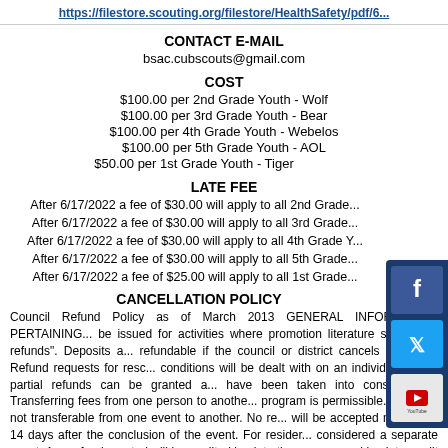https://filestore.scouting.org/filestore/HealthSafety/pdf/6...
CONTACT E-MAIL
bsac.cubscouts@gmail.com
COST
$100.00 per 2nd Grade Youth - Wolf
$100.00 per 3rd Grade Youth - Bear
$100.00 per 4th Grade Youth - Webelos
$100.00 per 5th Grade Youth - AOL
$50.00 per 1st Grade Youth - Tiger
LATE FEE
After 6/17/2022 a fee of $30.00 will apply to all 2nd Grade...
After 6/17/2022 a fee of $30.00 will apply to all 3rd Grade...
After 6/17/2022 a fee of $30.00 will apply to all 4th Grade Y...
After 6/17/2022 a fee of $30.00 will apply to all 5th Grade...
After 6/17/2022 a fee of $25.00 will apply to all 1st Grade...
CANCELLATION POLICY
Council Refund Policy as of March 2013 GENERAL INFORMATION PERTAINING... be issued for activities where promotion literature states "No refunds". Deposits a... refundable if the council or district cancels an event. Refund requests for resc... conditions will be dealt with on an individual basis, partial refunds can be granted a... have been taken into consideration. Transferring fees from one person to anothe... program is permissible. Fees are not transferable from one event to another. No re... will be accepted more than 14 days after the conclusion of the event. For resider... considered a separate event. Any refund granted will be credited back to the sourc... card back to credit card, check back to checking account, etc. Valid reasons for r... Death in family, or Change in business plans. In no event shall any refund be ma... event has not been completely met. If substitution for participation in the even h...